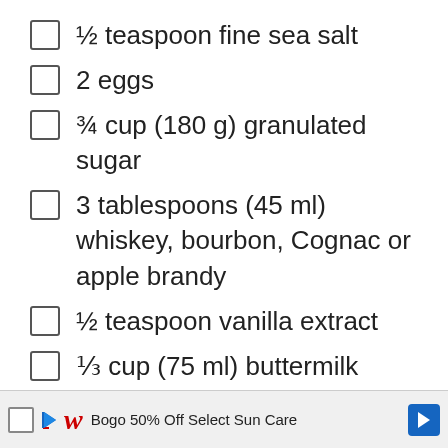½ teaspoon fine sea salt
2 eggs
¾ cup (180 g) granulated sugar
3 tablespoons (45 ml) whiskey, bourbon, Cognac or apple brandy
½ teaspoon vanilla extract
⅓ cup (75 ml) buttermilk
2 tablespoons (30 g) turbinado sugar
Bogo 50% Off Select Sun Care